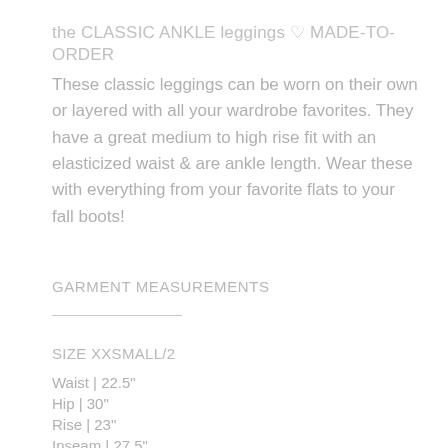the CLASSIC ANKLE leggings ♡ MADE-TO-ORDER
These classic leggings can be worn on their own or layered with all your wardrobe favorites. They have a great medium to high rise fit with an elasticized waist & are ankle length. Wear these with everything from your favorite flats to your fall boots!
GARMENT MEASUREMENTS
SIZE XXSMALL/2
Waist | 22.5"
Hip | 30"
Rise | 23"
Inseam | 27.5"